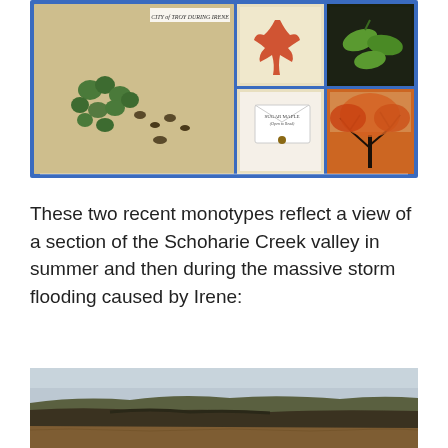[Figure (photo): A collage/mixed media artwork with a blue border. Left large panel shows a map-like landscape scene with green tree clusters. Upper right two panels show a red maple leaf and green seed pods on dark background. Lower right has a white envelope labeled 'SUGAR MAPLE (Open to Read)' and an autumn tree with orange/red foliage against a sunset.]
These two recent monotypes reflect a view of a section of the Schoharie Creek valley in summer and then during the massive storm flooding caused by Irene:
[Figure (photo): A landscape photograph showing flood waters from Hurricane Irene in the Schoharie Creek valley. Dark muddy floodwaters fill the lower portion with hills in the background under a grey sky.]